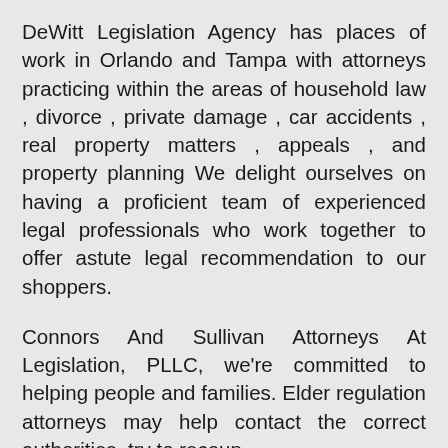DeWitt Legislation Agency has places of work in Orlando and Tampa with attorneys practicing within the areas of household law , divorce , private damage , car accidents , real property matters , appeals , and property planning We delight ourselves on having a proficient team of experienced legal professionals who work together to offer astute legal recommendation to our shoppers.
Connors And Sullivan Attorneys At Legislation, PLLC, we're committed to helping people and families. Elder regulation attorneys may help contact the correct authorities, try to recoup